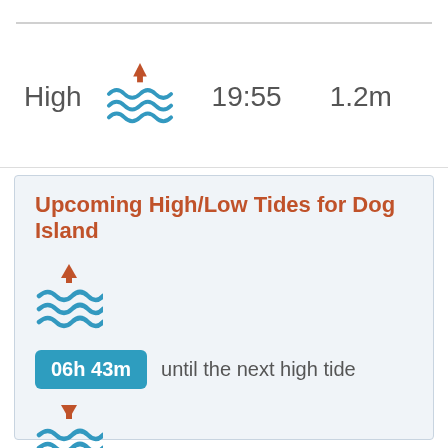High   19:55   1.2m
Upcoming High/Low Tides for Dog Island
06h 43m until the next high tide